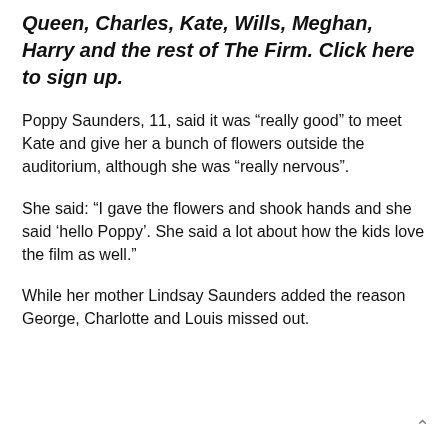Queen, Charles, Kate, Wills, Meghan, Harry and the rest of The Firm. Click here to sign up.
Poppy Saunders, 11, said it was “really good” to meet Kate and give her a bunch of flowers outside the auditorium, although she was “really nervous”.
She said: “I gave the flowers and shook hands and she said ‘hello Poppy’. She said a lot about how the kids love the film as well.”
While her mother Lindsay Saunders added the reason George, Charlotte and Louis missed out.